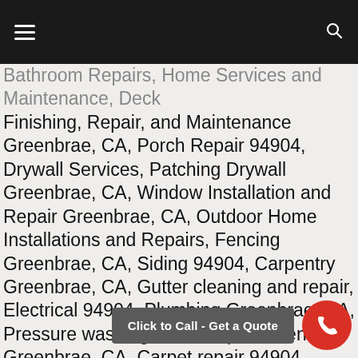[Navigation bar with hamburger menu and search icon]
Bathroom Repairs, Home Services and Maintenance, Deck Finishing, Repair, and Maintenance Greenbrae, CA, Porch Repair 94904, Drywall Services, Patching Drywall Greenbrae, CA, Window Installation and Repair Greenbrae, CA, Outdoor Home Installations and Repairs, Fencing Greenbrae, CA, Siding 94904, Carpentry Greenbrae, CA, Gutter cleaning and repair, Electrical 94904, Plumbing Greenbrae, CA, Pressure washing, Grout replacement Greenbrae, CA, Carpet repair 94904, Carpet square installation 94904, Laminate repair Greenbrae, CA 94904, Graffiti removal, Roof repairs Greenbrae, CA 94904, Landscaping, Basic locksmith services Greenbrae, CA 94904
Click to Call - Get a Quote